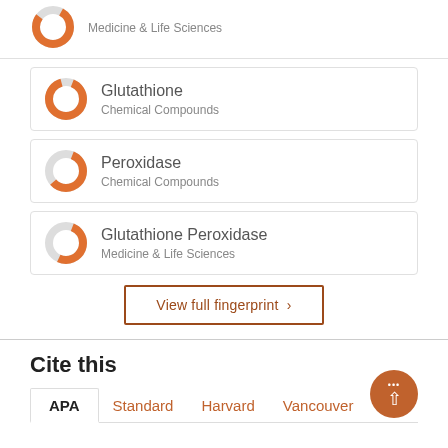[Figure (donut-chart): Partial donut chart, orange fill ~75%, grey background, for Medicine & Life Sciences]
Medicine & Life Sciences
Glutathione
Chemical Compounds
Peroxidase
Chemical Compounds
Glutathione Peroxidase
Medicine & Life Sciences
View full fingerprint >
Cite this
APA   Standard   Harvard   Vancouver